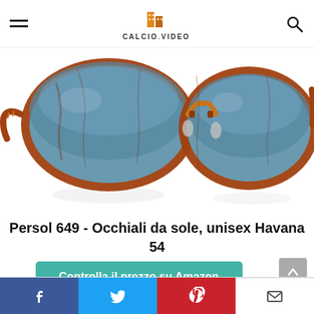CALCIO.VIDEO
[Figure (photo): Persol 649 sunglasses with tortoise havana brown frame and gradient blue lenses on white background]
Persol 649 - Occhiali da sole, unisex Havana 54
Controlla il prezzo su Amazon
Amazon.it
Facebook | Twitter | Pinterest | Email social share buttons